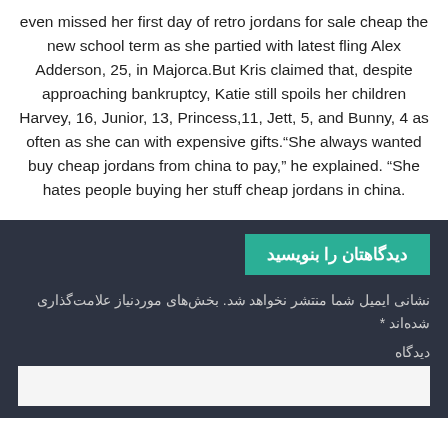even missed her first day of retro jordans for sale cheap the new school term as she partied with latest fling Alex Adderson, 25, in Majorca.But Kris claimed that, despite approaching bankruptcy, Katie still spoils her children Harvey, 16, Junior, 13, Princess,11, Jett, 5, and Bunny, 4 as often as she can with expensive gifts.“She always wanted buy cheap jordans from china to pay,” he explained. “She hates people buying her stuff cheap jordans in china.
دیدگاهتان را بنویسید
نشانی ایمیل شما منتشر نخواهد شد. بخش‌های موردنیاز علامت‌گذاری شده‌اند *
دیدگاه